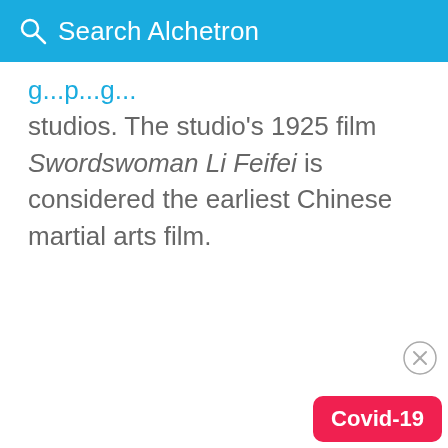Search Alchetron
studios. The studio's 1925 film Swordswoman Li Feifei is considered the earliest Chinese martial arts film.
[Figure (other): Close/dismiss button circle with X]
Covid-19